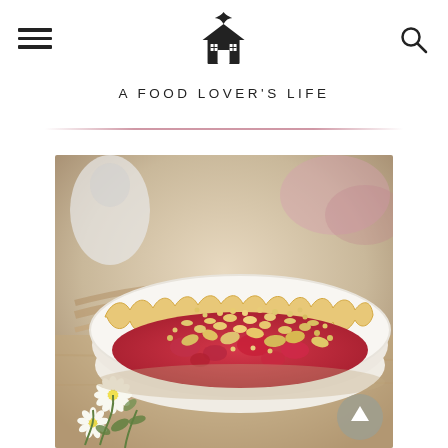A FOOD LOVER'S LIFE
[Figure (photo): Close-up photo of a raspberry crumble pie in a white ceramic pie dish with fluted pastry edges, topped with golden streusel crumble, surrounded by small white flowers and green foliage on a wooden surface]